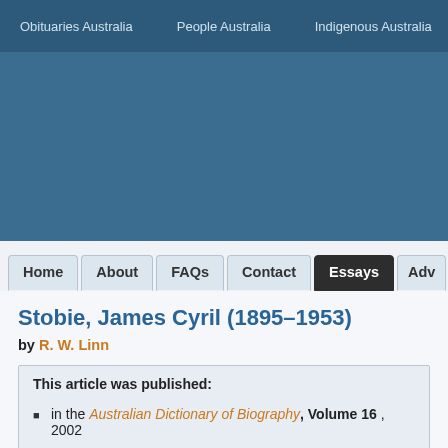Obituaries Australia   People Australia   Indigenous Australia   Wo...
[Figure (screenshot): Blue banner / header area of the Australian Dictionary of Biography website]
Home   About   FAQs   Contact   Essays   Adv...
Stobie, James Cyril (1895–1953)
by R. W. Linn
This article was published:
in the Australian Dictionary of Biography, Volume 16 , 2002
online in 2006